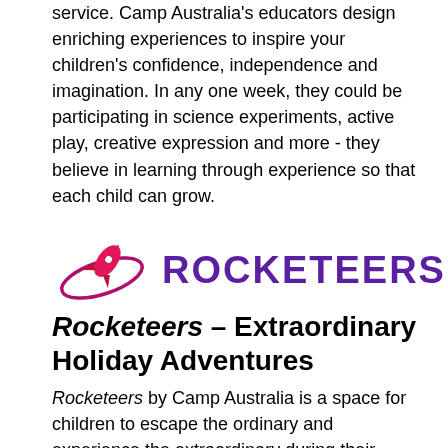service. Camp Australia's educators design enriching experiences to inspire your children's confidence, independence and imagination. In any one week, they could be participating in science experiments, active play, creative expression and more - they believe in learning through experience so that each child can grow.
[Figure (logo): Rocketeers logo: stylized rocket with elliptical orbit in red/pink, followed by ROCKETEERS in bold purple uppercase letters]
Rocketeers – Extraordinary Holiday Adventures
Rocketeers by Camp Australia is a space for children to escape the ordinary and experience the extraordinary during their school holidays. Every school holiday break is a new mission for